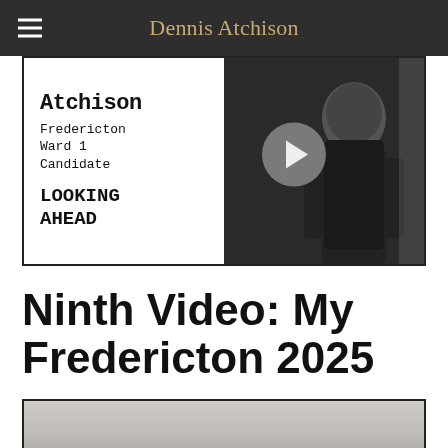Dennis Atchison
[Figure (screenshot): Video thumbnail showing 'Atchison - Fredericton Ward 1 Candidate - LOOKING AHEAD' on the left side with a play button overlay, and a dark photo of a person from behind on the right side.]
Ninth Video: My Fredericton 2025
[Figure (screenshot): Partial video thumbnail at the bottom of the page, showing a partially visible image with gray tones.]